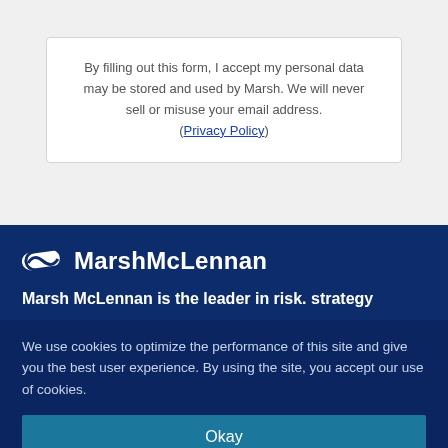By filling out this form, I accept my personal data may be stored and used by Marsh. We will never sell or misuse your email address. (Privacy Policy)
[Figure (logo): Marsh McLennan logo with stylized ribbon icon and white text on dark blue background]
Marsh McLennan is the leader in risk. strategy
We use cookies to optimize the performance of this site and give you the best user experience. By using the site, you accept our use of cookies.
Okay
Manage Cookies